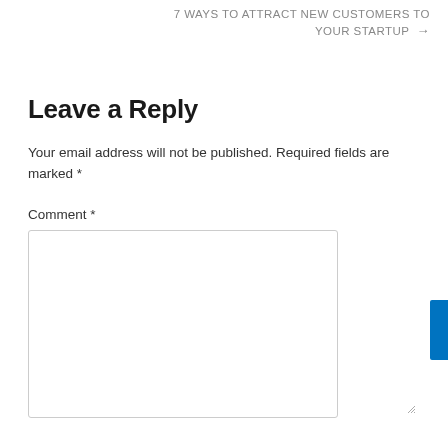7 WAYS TO ATTRACT NEW CUSTOMERS TO YOUR STARTUP →
Leave a Reply
Your email address will not be published. Required fields are marked *
Comment *